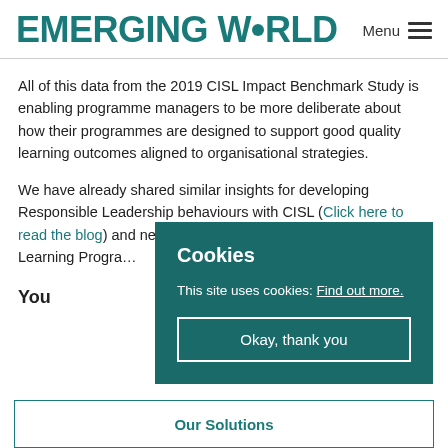EMERGING WORLD  Menu
All of this data from the 2019 CISL Impact Benchmark Study is enabling programme managers to be more deliberate about how their programmes are designed to support good quality learning outcomes aligned to organisational strategies.
We have already shared similar insights for developing Responsible Leadership behaviours with CISL (Click here to read the blog) and next week, we will look at how Immersive Learning Progra...
You...
[Figure (screenshot): Cookie consent popup overlay with dark teal background. Contains title 'Cookies', body text 'This site uses cookies: Find out more.' with underlined link, and a button 'Okay, thank you' with white border.]
Our Solutions